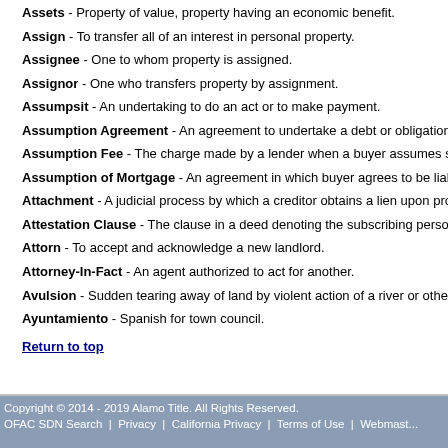Assets - Property of value, property having an economic benefit.
Assign - To transfer all of an interest in personal property.
Assignee - One to whom property is assigned.
Assignor - One who transfers property by assignment.
Assumpsit - An undertaking to do an act or to make payment.
Assumption Agreement - An agreement to undertake a debt or obligation contr...
Assumption Fee - The charge made by a lender when a buyer assumes seller's...
Assumption of Mortgage - An agreement in which buyer agrees to be liable fo...
Attachment - A judicial process by which a creditor obtains a lien upon property...
Attestation Clause - The clause in a deed denoting the subscribing persons are...
Attorn - To accept and acknowledge a new landlord.
Attorney-In-Fact - An agent authorized to act for another.
Avulsion - Sudden tearing away of land by violent action of a river or other wate...
Ayuntamiento - Spanish for town council.
Return to top
Copyright © 2014 - 2019 Alamo Title. All Rights Reserved.
OFAC SDN Search  |  Privacy  |  California Privacy  |  Terms of Use  |  Webmaster